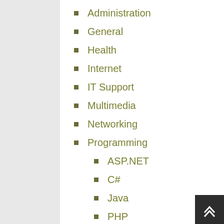Administration
General
Health
Internet
IT Support
Multimedia
Networking
Programming
ASP.NET
C#
Java
PHP
VB.NET
Security
Virtualization